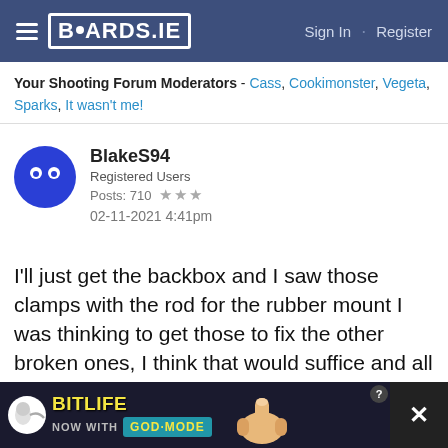BOARDS.IE  Sign In · Register
Your Shooting Forum Moderators - Cass, Cookimonster, Vegeta, Sparks, It wasn't me!
BlakeS94
Registered Users
Posts: 710 ★★★
02-11-2021 4:41pm
I'll just get the backbox and I saw those clamps with the rod for the rubber mount I was thinking to get those to fix the other broken ones, I think that would suffice and all would be well, that's where the other broken one I saw is yeah, on the left side of the exhaust just after the subframe, maybe a motor factors would be ideal so, thanks so much for your help and going out of your way
[Figure (screenshot): BitLife advertisement banner — NOW WITH GOD MODE — with pointing hand graphic]